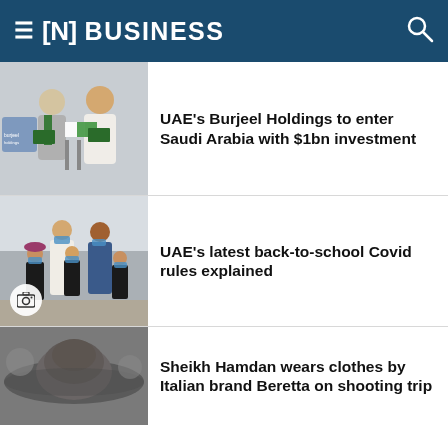≡ [N] BUSINESS
[Figure (photo): Two men in business attire holding green folders and flags at a Burjeel Holdings event, with a Burjeel Holdings logo visible in the background]
UAE's Burjeel Holdings to enter Saudi Arabia with $1bn investment
[Figure (photo): Family wearing face masks walking together outdoors, with a camera icon badge overlay in the lower left corner]
UAE's latest back-to-school Covid rules explained
[Figure (photo): Person wearing a wide-brim grey hat, seen from behind or side, outdoors]
Sheikh Hamdan wears clothes by Italian brand Beretta on shooting trip